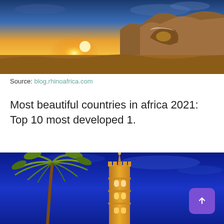[Figure (photo): Rocky desert landscape with ancient ruins or rock formations under a dramatic golden sunset sky with rays of light breaking through]
Source: blog.rhinoafrica.com
Most beautiful countries in africa 2021: Top 10 most developed 1.
[Figure (photo): Night photograph of a tall minaret/mosque tower illuminated in gold against a vivid blue night sky, with a palm tree on the left side and a small purple scroll-to-top button in the bottom right corner]